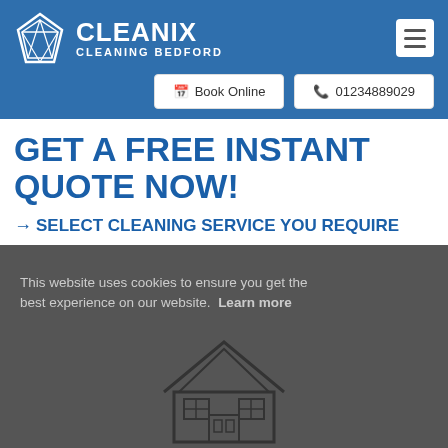[Figure (logo): Cleanix Cleaning Bedford logo with diamond/gem shape icon in white on blue background]
Book Online
01234889029
GET A FREE INSTANT QUOTE NOW!
→ SELECT CLEANING SERVICE YOU REQUIRE
This website uses cookies to ensure you get the best experience on our website. Learn more
Got it!
[Figure (illustration): House/building icon outline]
Domestic